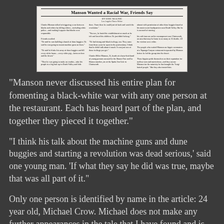[Figure (screenshot): Newspaper clipping with headline 'Manson Wanted a Racial War, Friends Say', byline 'By Eric Malnic', and multi-column article text.]
“Manson never discussed his entire plan for fomenting a black-white war with any one person at the restaurant. Each has heard part of the plan, and together they pieced it together.”
“I think his talk about the machine guns and dune buggies and starting a revolution was dead serious,’ said one young man. ‘If what they say he did was true, maybe that was all part of it.”
Only one person is identified by name in the article: 24 year old, Michael Crow. Michael does not make any further appearances in the tale that I have found and is not on Deemer’s list of Family associates.